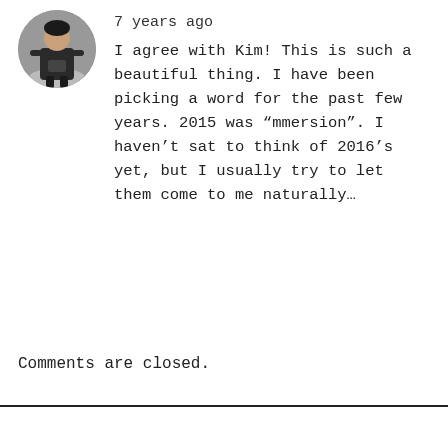[Figure (photo): Circular avatar photo of a person wearing dark clothes, appears to be outdoors.]
7 years ago
I agree with Kim! This is such a beautiful thing. I have been picking a word for the past few years. 2015 was “mmersion”. I haven’t sat to think of 2016’s yet, but I usually try to let them come to me naturally…
Comments are closed.